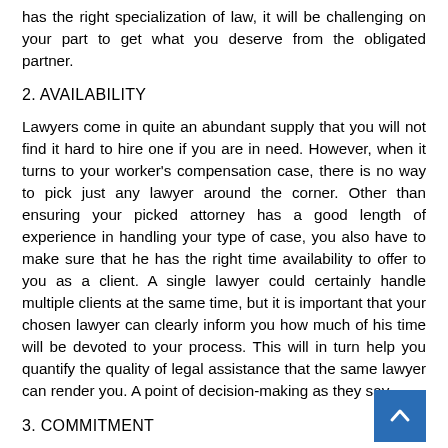has the right specialization of law, it will be challenging on your part to get what you deserve from the obligated partner.
2. AVAILABILITY
Lawyers come in quite an abundant supply that you will not find it hard to hire one if you are in need. However, when it turns to your worker's compensation case, there is no way to pick just any lawyer around the corner. Other than ensuring your picked attorney has a good length of experience in handling your type of case, you also have to make sure that he has the right time availability to offer to you as a client. A single lawyer could certainly handle multiple clients at the same time, but it is important that your chosen lawyer can clearly inform you how much of his time will be devoted to your process. This will in turn help you quantify the quality of legal assistance that the same lawyer can render you. A point of decision-making as they say.
3. COMMITMENT